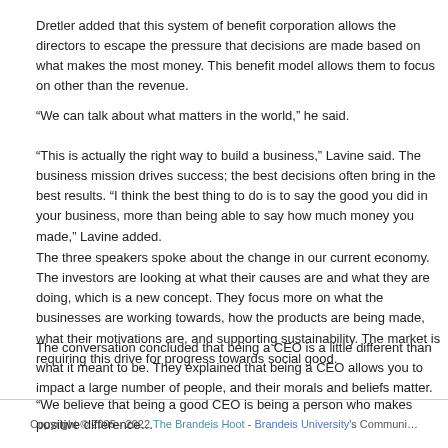Dretler added that this system of benefit corporation allows the directors to escape the pressure that decisions are made based on what makes the most money. This benefit model allows them to focus on other than the revenue.
“We can talk about what matters in the world,” he said.
“This is actually the right way to build a business,” Lavine said. The business mission drives success; the best decisions often bring in the best results. “I think the best thing to do is to say the good you did in your business, more than being able to say how much money you made,” Lavine added.
The three speakers spoke about the change in our current economy. The investors are looking at what their causes are and what they are doing, which is a new concept. They focus more on what the businesses are working towards, how the products are being made, what their motivations are, and supporting sustainability. The market is requiring this drive for progress towards social good.
The conversation concluded that being a CEO is a little different than what it meant to be. They explained that being a CEO allows you to impact a large number of people, and their morals and beliefs matter.
“We believe that being a good CEO is being a person who makes positive differences…
Copyright © 2005 - 2022 The Brandeis Hoot - Brandeis University’s Communi…